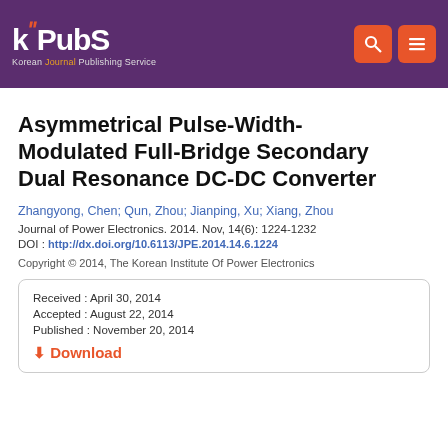KPubS — Korean Journal Publishing Service
Asymmetrical Pulse-Width-Modulated Full-Bridge Secondary Dual Resonance DC-DC Converter
Zhangyong, Chen; Qun, Zhou; Jianping, Xu; Xiang, Zhou
Journal of Power Electronics. 2014. Nov, 14(6): 1224-1232
DOI : http://dx.doi.org/10.6113/JPE.2014.14.6.1224
Copyright © 2014, The Korean Institute Of Power Electronics
Received : April 30, 2014
Accepted : August 22, 2014
Published : November 20, 2014